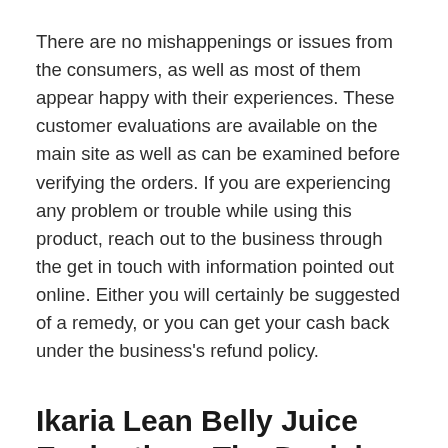There are no mishappenings or issues from the consumers, as well as most of them appear happy with their experiences. These customer evaluations are available on the main site as well as can be examined before verifying the orders. If you are experiencing any problem or trouble while using this product, reach out to the business through the get in touch with information pointed out online. Either you will certainly be suggested of a remedy, or you can get your cash back under the business's refund policy.
Ikaria Lean Belly Juice Evaluation– The Decision